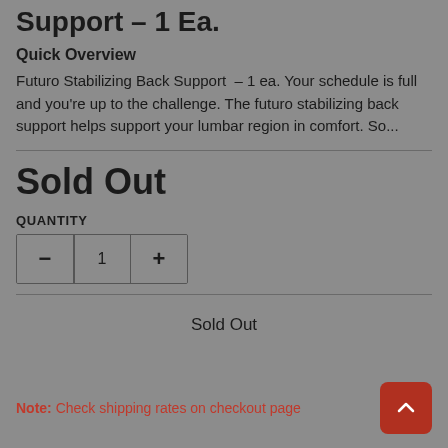Support – 1 Ea.
Quick Overview
Futuro Stabilizing Back Support – 1 ea. Your schedule is full and you're up to the challenge. The futuro stabilizing back support helps support your lumbar region in comfort. So...
Sold Out
QUANTITY
1
Sold Out
Note: Check shipping rates on checkout page